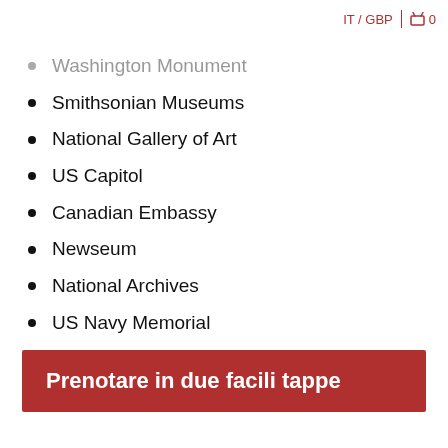IT / GBP  🛒 0
Washington Monument
Smithsonian Museums
National Gallery of Art
US Capitol
Canadian Embassy
Newseum
National Archives
US Navy Memorial
FBI Building
And more!
Prenotare in due facili tappe